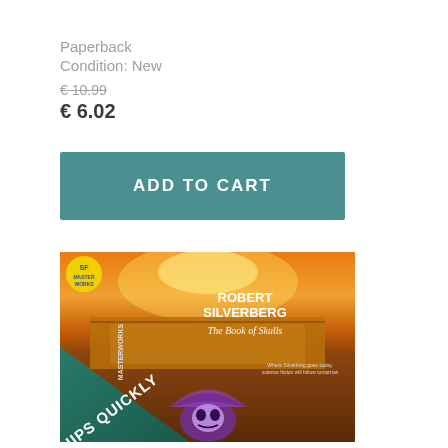Paperback
Condition: New
€10.99
€ 6.02
ADD TO CART
[Figure (photo): Book cover of 'The Book of Skulls' by Robert Silverberg, SF Masterworks edition, with a diagonal green 'SHIPS QUICKLY' banner in the bottom-left corner.]